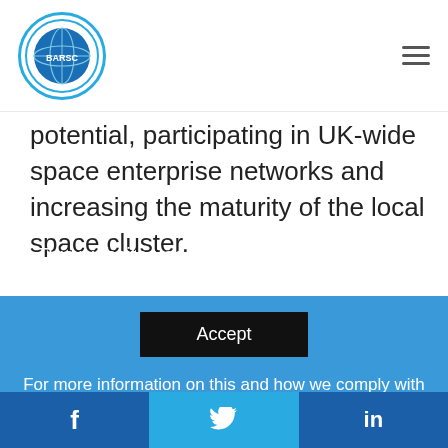BARSC logo and navigation
potential, participating in UK-wide space enterprise networks and increasing the maturity of the local space cluster.
CLICK TO LEARN MORE AND VIEW APPLICATION FORMS
Categories: BARSC NEWS  INDUSTRY NEWS
This website uses cookies to improve your experience
Accept
For more information on this and how we comply with the GDPR, please click to visit the Privacy Policy Page
f  (twitter bird)  in